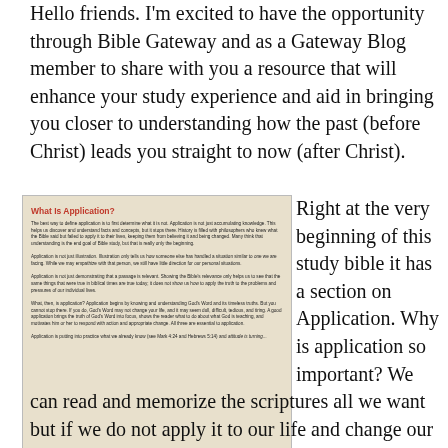Hello friends. I'm excited to have the opportunity through Bible Gateway and as a Gateway Blog member to share with you a resource that will enhance your study experience and aid in bringing you closer to understanding how the past (before Christ) leads you straight to now (after Christ).
[Figure (photo): Photo of an open study Bible showing the section 'What Is Application?' with dense explanatory text about biblical application in small print.]
Right at the very beginning of this study bible it has a section on Application. Why is application so important? We can read and memorize the scriptures all we want but if we do not apply it to our life and change our ways so